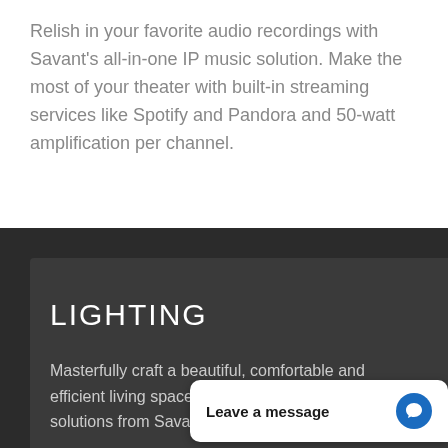Relish in your favorite audio recordings with Savant's all-in-one IP music solution. Make the most of your theater with built-in streaming services like Spotify and Pandora and 50-watt amplification per channel.
LIGHTING
Masterfully craft a beautiful, comfortable and efficient living space ... solutions from Sava...
[Figure (other): Live chat widget overlay reading 'Leave a message' with a blue chat icon]